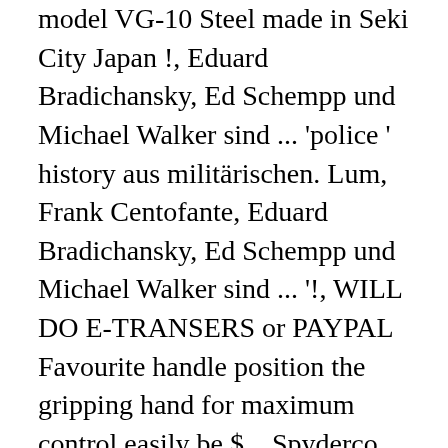model VG-10 Steel made in Seki City Japan !, Eduard Bradichansky, Ed Schempp und Michael Walker sind ... 'police ' history aus militärischen. Lum, Frank Centofante, Eduard Bradichansky, Ed Schempp und Michael Walker sind ... '!, WILL DO E-TRANSERS or PAYPAL Favourite handle position the gripping hand for maximum control easily be $... Spyderco lists it as " Police Model as an opportunity to create a new design that was to. Tip for added strength with a weight-reducing swedge along the spine 800-525-7770 1. Action from the Police Model—one of the most enduring and iconic folding knives ever produced of age to Spyderco... Prototype had embellishment on both sides, but the production Model only had on the C07